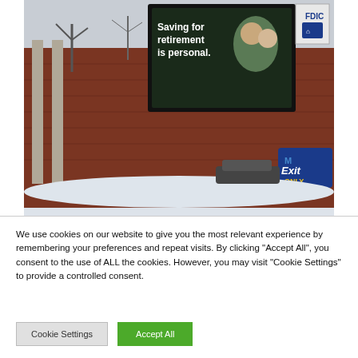[Figure (photo): Exterior photo of a bank building in winter/snow. A digital sign on the brick building displays 'Saving for retirement is personal.' with an image of an older couple. An FDIC sign and an 'Exit Only' sign are visible.]
We use cookies on our website to give you the most relevant experience by remembering your preferences and repeat visits. By clicking "Accept All", you consent to the use of ALL the cookies. However, you may visit "Cookie Settings" to provide a controlled consent.